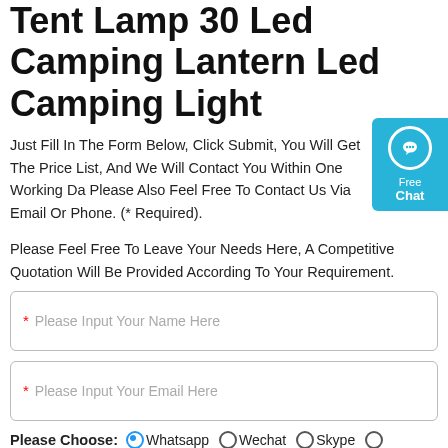Tent Lamp 30 Led Camping Lantern Led Camping Light
Just Fill In The Form Below, Click Submit, You Will Get The Price List, And We Will Contact You Within One Working Day. Please Also Feel Free To Contact Us Via Email Or Phone. (* Required).
Please Feel Free To Leave Your Needs Here, A Competitive Quotation Will Be Provided According To Your Requirement.
* Please Input Your Name Here
* Please Input Your Email Here
Please Choose: Whatsapp  Wechat  Skype  Viber